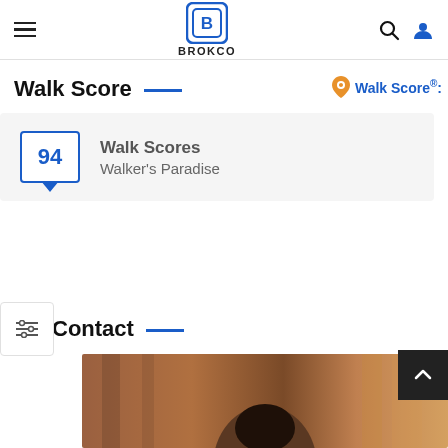BROKCO
Walk Score
Walk Score® :
94 Walk Scores Walker's Paradise
Contact
[Figure (photo): Portrait photo of a person, cropped to show top of head, warm brown bokeh background]